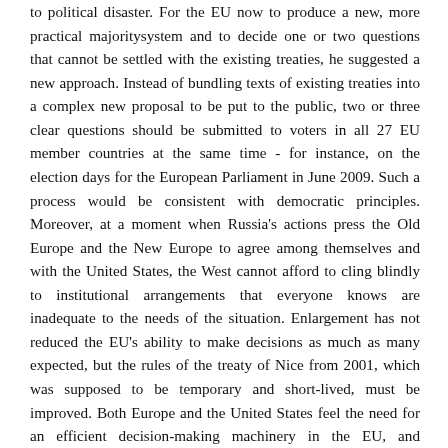to political disaster. For the EU now to produce a new, more practical majoritysystem and to decide one or two questions that cannot be settled with the existing treaties, he suggested a new approach. Instead of bundling texts of existing treaties into a complex new proposal to be put to the public, two or three clear questions should be submitted to voters in all 27 EU member countries at the same time - for instance, on the election days for the European Parliament in June 2009. Such a process would be consistent with democratic principles. Moreover, at a moment when Russia's actions press the Old Europe and the New Europe to agree among themselves and with the United States, the West cannot afford to cling blindly to institutional arrangements that everyone knows are inadequate to the needs of the situation. Enlargement has not reduced the EU's ability to make decisions as much as many expected, but the rules of the treaty of Nice from 2001, which was supposed to be temporary and short-lived, must be improved. Both Europe and the United States feel the need for an efficient decision-making machinery in the EU, and everyone should reflect how that challenge...